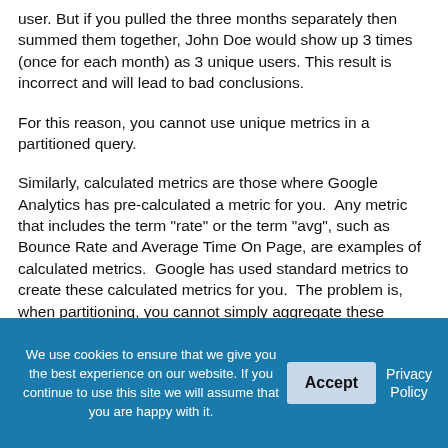user. But if you pulled the three months separately then summed them together, John Doe would show up 3 times (once for each month) as 3 unique users. This result is incorrect and will lead to bad conclusions.
For this reason, you cannot use unique metrics in a partitioned query.
Similarly, calculated metrics are those where Google Analytics has pre-calculated a metric for you.  Any metric that includes the term "rate" or the term "avg", such as Bounce Rate and Average Time On Page, are examples of calculated metrics.  Google has used standard metrics to create these calculated metrics for you.  The problem is, when partitioning, you cannot simply aggregate these
We use cookies to ensure that we give you the best experience on our website. If you continue to use this site we will assume that you are happy with it.